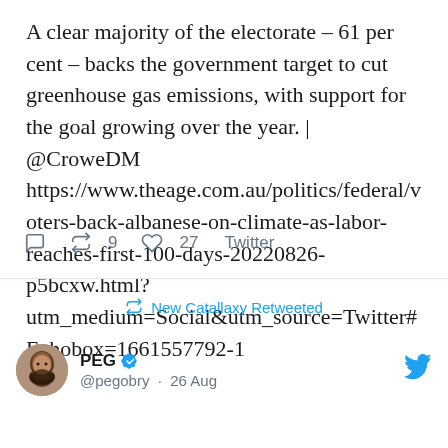A clear majority of the electorate – 61 per cent – backs the government target to cut greenhouse gas emissions, with support for the goal growing over the year. | @CroweDM https://www.theage.com.au/politics/federal/voters-back-albanese-on-climate-as-labor-reaches-first-100-days-20220826-p5bcxw.html?utm_medium=Social&utm_source=Twitter#Echobox=1661557792-1
reply 0  retweet 9  like 27  Twitter
New Catallaxy Retweeted
PEG @pegobry · 26 Aug